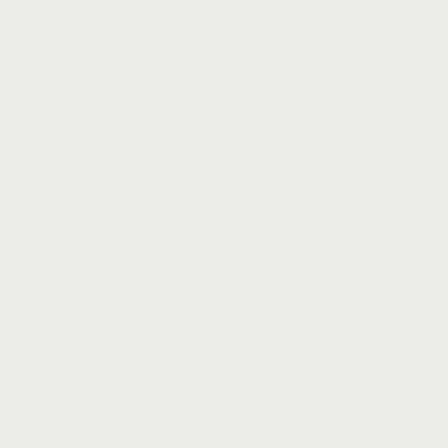ma
Sm
gor
rise

As
the
wer
go
by,
Bel
bec
mo
of
a
rec
anc
as
he
qua
wit
his
coll
anc